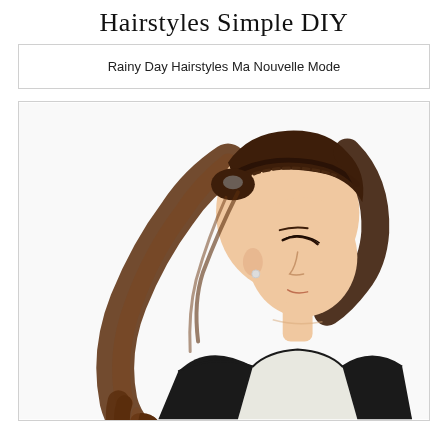Hairstyles Simple DIY
Rainy Day Hairstyles Ma Nouvelle Mode
[Figure (photo): A young woman with long brown wavy hair styled in a high ponytail with braided crown detail, photographed from the side, wearing a black sleeveless top, against a white background.]